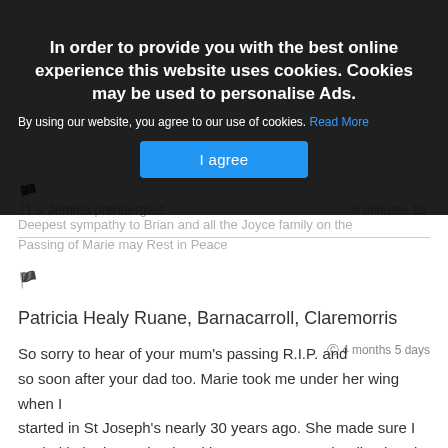[Figure (screenshot): Cookie consent overlay with dark semi-transparent background, title text, description with Read More link, and I agree button]
🏴 (flag icon)
11 & Jemma prendergast ... (obscured)
Deepest sympathy to Brian and all the Joyce family on the Passing of Marie may ... Peace (partially obscured)
🏴 (flag icon)
Patricia Healy Ruane, Barnacarroll, Claremorris
So sorry to hear of your mum's passing R.I.P. and so soon after your dad too. Marie took me under her wing when I started in St Joseph's nearly 30 years ago. She made sure I settled in both at school and in my year I spent in Aikenhead Terrace. I will not forget her kindness to me back then. She will be remembered fondly by all who knew her in St. Joseph's. May God
4 months 5 days